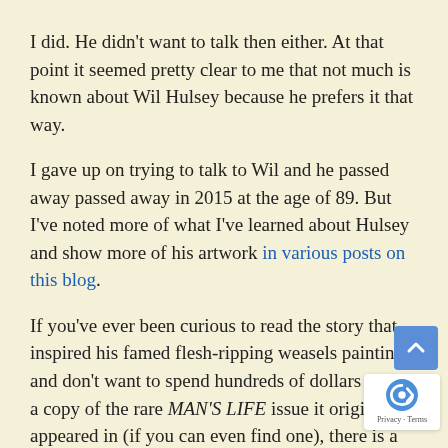I did. He didn't want to talk then either. At that point it seemed pretty clear to me that not much is known about Wil Hulsey because he prefers it that way.
I gave up on trying to talk to Wil and he passed away passed away in 2015 at the age of 89. But I've noted more of what I've learned about Hulsey and show more of his artwork in various posts on this blog.
If you've ever been curious to read the story that inspired his famed flesh-ripping weasels painting and don't want to spend hundreds of dollars to buy a copy of the rare MAN'S LIFE issue it originally appeared in (if you can even find one), there is a way.
Wyatt Doyle and I reprinted in our book WEASELS RIPPED MY FLESH!. That book includes the famed killer weasels yarn and 21 other classic men's pulp adventure magazine stories. Some are by well-known